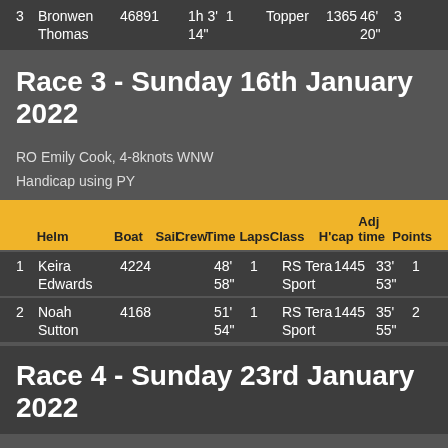|  | Helm | Boat | Sail | Crew | Time | Laps | Class | H'cap | Adj time | Points |
| --- | --- | --- | --- | --- | --- | --- | --- | --- | --- | --- |
| 3 | Bronwen Thomas | 46891 |  |  | 1h 3' 14" | 1 | Topper | 1365 | 46' 20" | 3 |
Race 3 - Sunday 16th January 2022
RO Emily Cook, 4-8knots WNW
Handicap using PY
|  | Helm | Boat | Sail | Crew | Time | Laps | Class | H'cap | Adj time | Points |
| --- | --- | --- | --- | --- | --- | --- | --- | --- | --- | --- |
| 1 | Keira Edwards | 4224 |  |  | 48' 58" | 1 | RS Tera Sport | 1445 | 33' 53" | 1 |
| 2 | Noah Sutton | 4168 |  |  | 51' 54" | 1 | RS Tera Sport | 1445 | 35' 55" | 2 |
Race 4 - Sunday 23rd January 2022